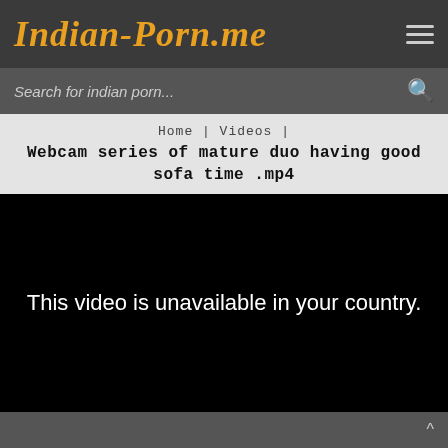Indian-Porn.me
Search for indian porn...
Home | Videos |
Webcam series of mature duo having good sofa time .mp4
[Figure (screenshot): Black video player area displaying the message: This video is unavailable in your country.]
^